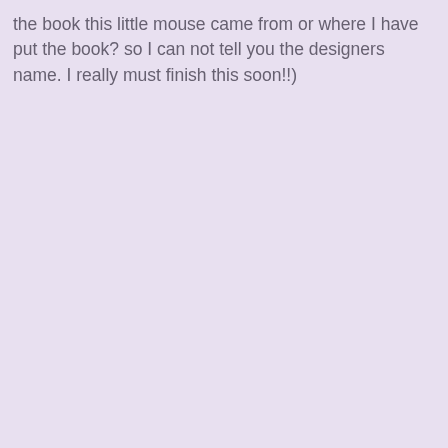the book this little mouse came from or where I have put the book? so I can not tell you the designers name. I really must finish this soon!!)